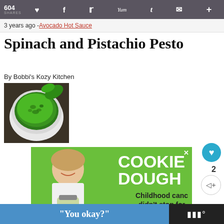604 SHARES
3 years ago - Avocado Hot Sauce
Spinach and Pistachio Pesto
By Bobbi's Kozy Kitchen
[Figure (photo): Bowl of bright green spinach and pistachio pesto on dark background with basil leaves]
[Figure (illustration): Advertisement: Cookie Dough - Childhood cancer didn't stop for - with image of smiling girl holding jar]
WHAT'S NEXT → Roasted Sweet Potat...
"You okay?"